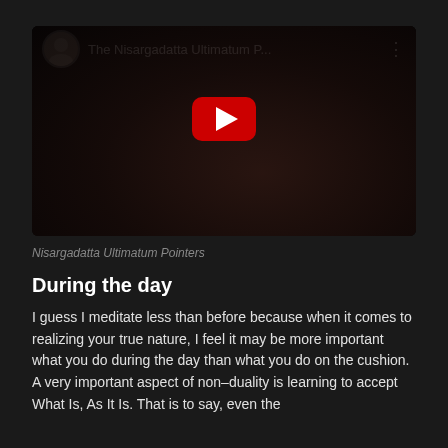[Figure (screenshot): YouTube video thumbnail for 'The Nisargadatta Ultimatum P...' showing a dark mystical background with a red play button in the center and a channel avatar on the top left.]
Nisargadatta Ultimatum Pointers
During the day
I guess I meditate less than before because when it comes to realizing your true nature, I feel it may be more important what you do during the day than what you do on the cushion. A very important aspect of non-duality is learning to accept What Is, As It Is. That is to say, even the